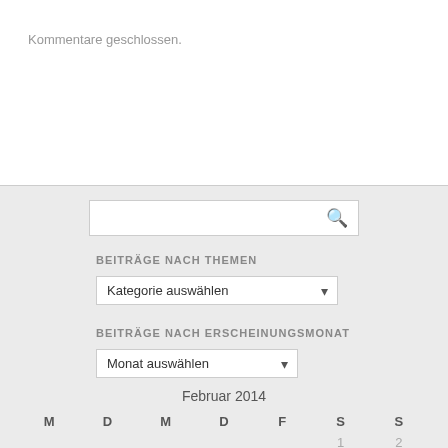Kommentare geschlossen.
[Figure (screenshot): Search input box with magnifying glass icon]
BEITRÄGE NACH THEMEN
[Figure (screenshot): Dropdown select box with label 'Kategorie auswählen']
BEITRÄGE NACH ERSCHEINUNGSMONAT
[Figure (screenshot): Dropdown select box with label 'Monat auswählen']
| M | D | M | D | F | S | S |
| --- | --- | --- | --- | --- | --- | --- |
|  |  |  |  |  | 1 | 2 |